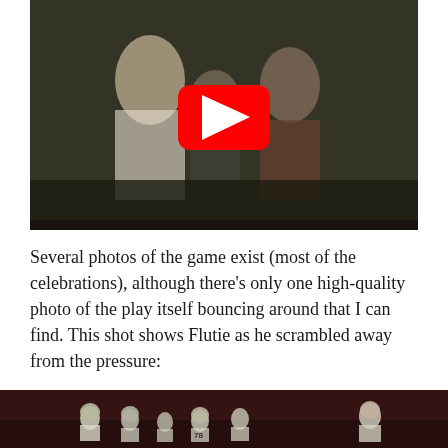[Figure (screenshot): YouTube video thumbnail showing people on a football field, with a red YouTube play button overlay in the center. Appears to be vintage/old footage of a football game celebration or sideline scene.]
Several photos of the game exist (most of the celebrations), although there's only one high-quality photo of the play itself bouncing around that I can find. This shot shows Flutie as he scrambled away from the pressure:
[Figure (photo): A football game photo showing players on the field at night, appears to be vintage/old game footage with players in white uniforms lined up.]